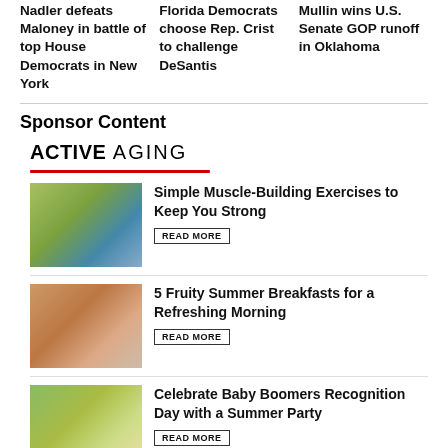Nadler defeats Maloney in battle of top House Democrats in New York
Florida Democrats choose Rep. Crist to challenge DeSantis
Mullin wins U.S. Senate GOP runoff in Oklahoma
Sponsor Content
[Figure (logo): ACTIVE AGING logo with red underline]
[Figure (photo): Older woman doing stretching exercises outdoors]
Simple Muscle-Building Exercises to Keep You Strong
READ MORE
[Figure (photo): Person at outdoor table with fruit breakfast]
5 Fruity Summer Breakfasts for a Refreshing Morning
READ MORE
[Figure (photo): Outdoor summer party with people]
Celebrate Baby Boomers Recognition Day with a Summer Party
READ MORE